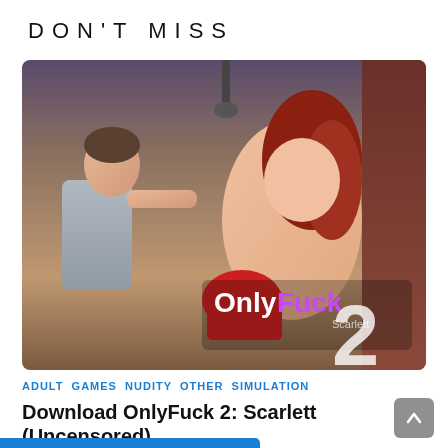DON'T MISS
[Figure (illustration): Promotional illustration for adult game 'OnlyFuck 2: Scarlett' showing two animated characters in a sexual scene with logo overlay reading 'OnlyFuck' (white and purple text) and 'Scarlett' subtitle, large '2' numeral, dark indoor background.]
ADULT  GAMES  NUDITY  OTHER  SIMULATION
Download OnlyFuck 2: Scarlett (Uncensored)